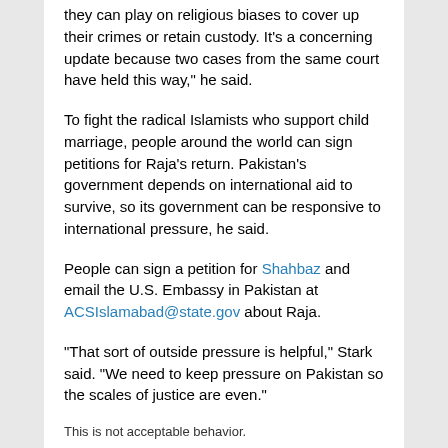they can play on religious biases to cover up their crimes or retain custody. It's a concerning update because two cases from the same court have held this way," he said.
To fight the radical Islamists who support child marriage, people around the world can sign petitions for Raja's return. Pakistan's government depends on international aid to survive, so its government can be responsive to international pressure, he said.
People can sign a petition for Shahbaz and email the U.S. Embassy in Pakistan at ACSIslamabad@state.gov about Raja.
“That sort of outside pressure is helpful,” Stark said. “We need to keep pressure on Pakistan so the scales of justice are even.”
This is not acceptable behavior.